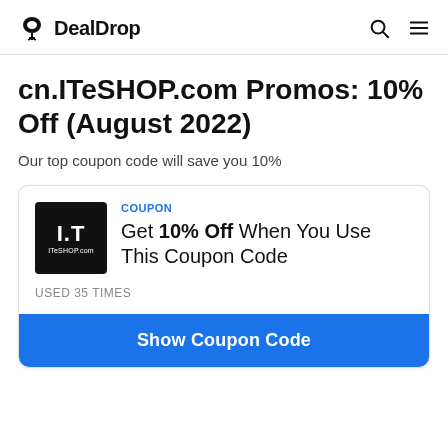DealDrop
cn.ITeSHOP.com Promos: 10% Off (August 2022)
Our top coupon code will save you 10%
COUPON
Get 10% Off When You Use This Coupon Code
USED 35 TIMES
Show Coupon Code